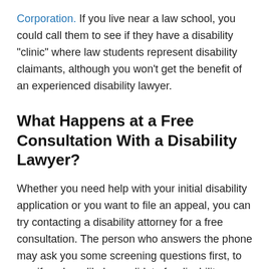Corporation. If you live near a law school, you could call them to see if they have a disability "clinic" where law students represent disability claimants, although you won't get the benefit of an experienced disability lawyer.
What Happens at a Free Consultation With a Disability Lawyer?
Whether you need help with your initial disability application or you want to file an appeal, you can try contacting a disability attorney for a free consultation. The person who answers the phone may ask you some screening questions first, to see if you're a likely candidate for disability benefits. You